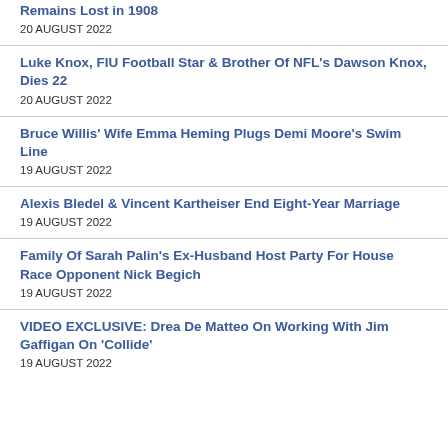Remains Lost in 1908
20 AUGUST 2022
Luke Knox, FIU Football Star & Brother Of NFL's Dawson Knox, Dies 22
20 AUGUST 2022
Bruce Willis' Wife Emma Heming Plugs Demi Moore's Swim Line
19 AUGUST 2022
Alexis Bledel & Vincent Kartheiser End Eight-Year Marriage
19 AUGUST 2022
Family Of Sarah Palin's Ex-Husband Host Party For House Race Opponent Nick Begich
19 AUGUST 2022
VIDEO EXCLUSIVE: Drea De Matteo On Working With Jim Gaffigan On 'Collide'
19 AUGUST 2022